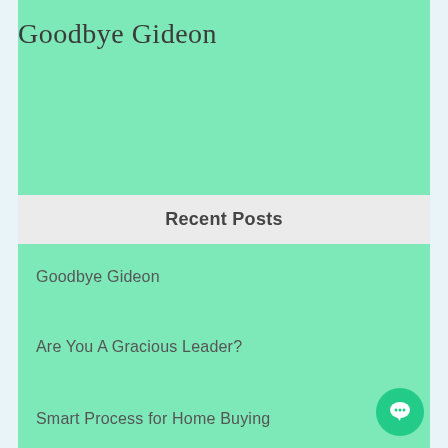Goodbye Gideon
Recent Posts
Goodbye Gideon
Are You A Gracious Leader?
Smart Process for Home Buying